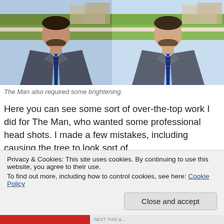[Figure (photo): Two side-by-side headshot photos of a man in a dark grey suit jacket, light blue shirt and dark blue patterned tie, with outdoor background. Left photo slightly darker, right photo brighter.]
The Man also required some brightening.
Here you can see some sort of over-the-top work I did for The Man, who wanted some professional head shots. I made a few mistakes, including causing the tree to look sort of
Privacy & Cookies: This site uses cookies. By continuing to use this website, you agree to their use.
To find out more, including how to control cookies, see here: Cookie Policy
Close and accept